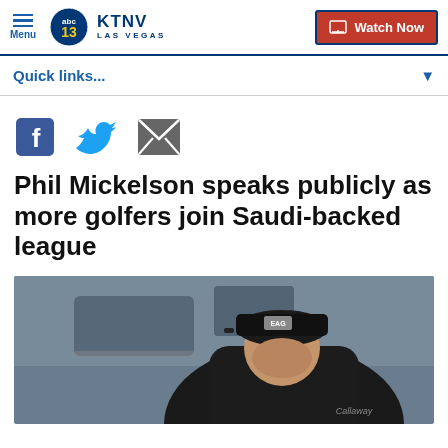Menu | KTNV LAS VEGAS | Watch Now
Quick links...
[Figure (other): Social media share icons: Facebook, Twitter, Email]
Phil Mickelson speaks publicly as more golfers join Saudi-backed league
[Figure (photo): Phil Mickelson wearing a black cap and black shirt, looking down, on a golf course with a blurred background]